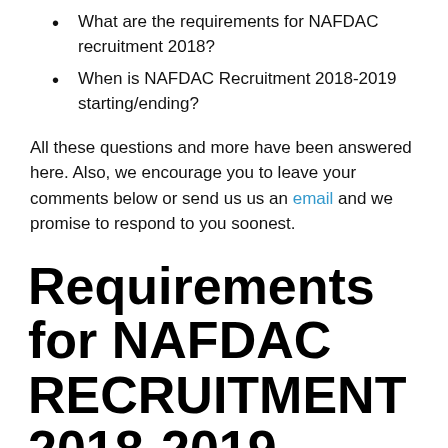What are the requirements for NAFDAC recruitment 2018?
When is NAFDAC Recruitment 2018-2019 starting/ending?
All these questions and more have been answered here. Also, we encourage you to leave your comments below or send us us an email and we promise to respond to you soonest.
Requirements for NAFDAC RECRUITMENT 2018-2019
All the requirements can be found in the NAFDAC